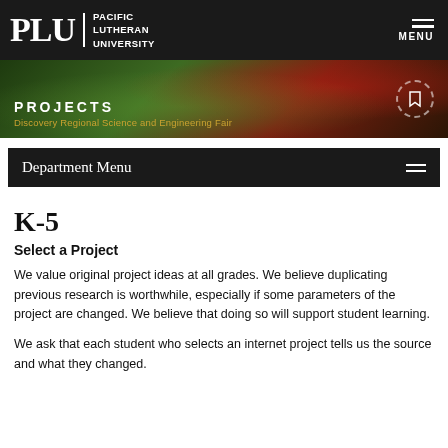PLU PACIFIC LUTHERAN UNIVERSITY | MENU
[Figure (photo): Hero banner image of forested area with red flowers, overlaid with text 'PROJECTS' and 'Discovery Regional Science and Engineering Fair']
Department Menu
K-5
Select a Project
We value original project ideas at all grades. We believe duplicating previous research is worthwhile, especially if some parameters of the project are changed. We believe that doing so will support student learning.
We ask that each student who selects an internet project tells us the source and what they changed.